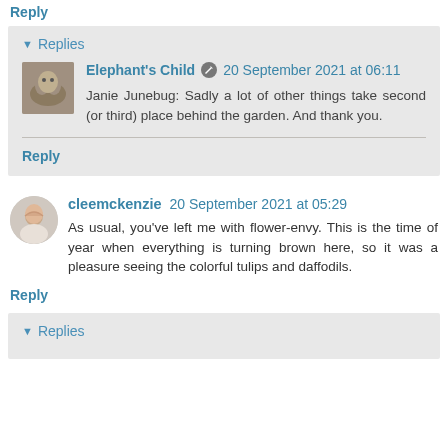Reply
Replies
Elephant's Child  20 September 2021 at 06:11
Janie Junebug: Sadly a lot of other things take second (or third) place behind the garden. And thank you.
Reply
cleemckenzie  20 September 2021 at 05:29
As usual, you've left me with flower-envy. This is the time of year when everything is turning brown here, so it was a pleasure seeing the colorful tulips and daffodils.
Reply
Replies